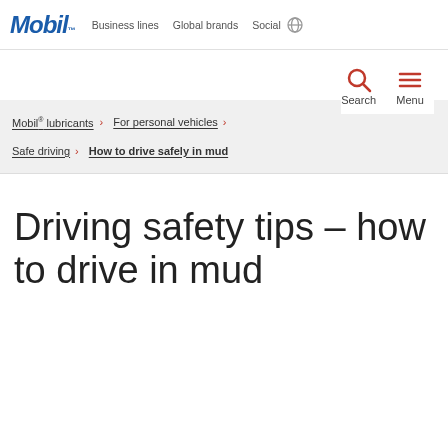Mobil™ | Business lines | Global brands | Social
Search | Menu
Mobil™ lubricants › | For personal vehicles ›
Safe driving › | How to drive safely in mud
Driving safety tips – how to drive in mud